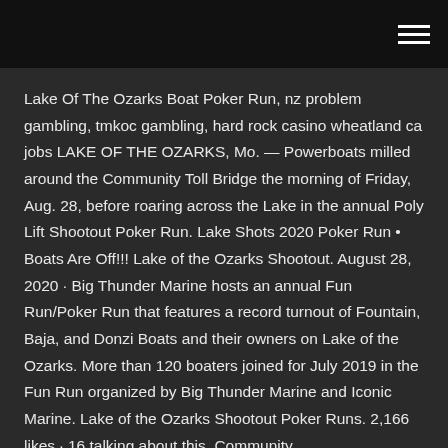≡
Lake Of The Ozarks Boat Poker Run, nz problem gambling, tmkoc gambling, hard rock casino wheatland ca jobs LAKE OF THE OZARKS, Mo. — Powerboats milled around the Community Toll Bridge the morning of Friday, Aug. 28, before roaring across the Lake in the annual Poly Lift Shootout Poker Run. Lake Shots 2020 Poker Run • Boats Are Off!!! Lake of the Ozarks Shootout. August 28, 2020 · Big Thunder Marine hosts an annual Fun Run/Poker Run that features a record turnout of Fountain, Baja, and Donzi Boats and their owners on Lake of the Ozarks. More than 120 boaters joined for July 2019 in the Fun Run organized by Big Thunder Marine and Iconic Marine. Lake of the Ozarks Shootout Poker Runs. 2,166 likes · 16 talking about this. Community.